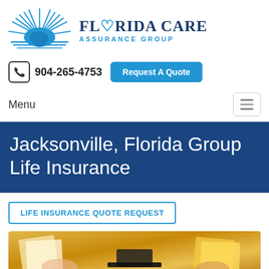[Figure (logo): Florida Care Assurance Group logo with sun/state outline graphic and company name]
904-265-4753
Request A Quote
Menu
Jacksonville, Florida Group Life Insurance
LIFE INSURANCE QUOTE REQUEST
[Figure (photo): Golden/amber toned photo showing documents, papers, and a hat]